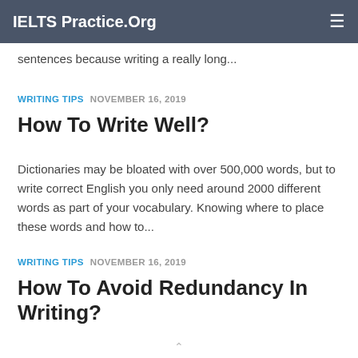IELTS Practice.Org
sentences because writing a really long...
WRITING TIPS  NOVEMBER 16, 2019
How To Write Well?
Dictionaries may be bloated with over 500,000 words, but to write correct English you only need around 2000 different words as part of your vocabulary. Knowing where to place these words and how to...
WRITING TIPS  NOVEMBER 16, 2019
How To Avoid Redundancy In Writing?